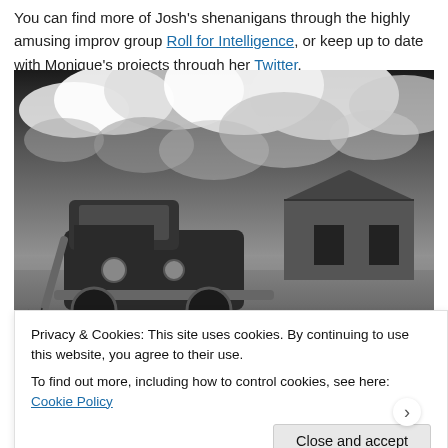You can find more of Josh's shenanigans through the highly amusing improv group Roll for Intelligence, or keep up to date with Monique's projects through her Twitter.
[Figure (photo): Black and white photograph of an old rusted truck in a field with an abandoned wooden barn in the background and dramatic cloudy sky overhead.]
Privacy & Cookies: This site uses cookies. By continuing to use this website, you agree to their use.
To find out more, including how to control cookies, see here: Cookie Policy
Close and accept